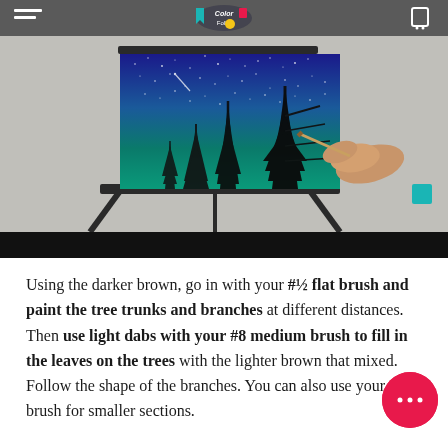[Figure (photo): A painting tutorial screenshot showing a canvas on an easel with a night sky painting featuring blue-to-teal gradient sky, white stars, and silhouetted pine trees. A hand holding a paintbrush is visible on the right side. The image has a dark top bar with a logo and a black bottom bar.]
Using the darker brown, go in with your #½ flat brush and paint the tree trunks and branches at different distances. Then use light dabs with your #8 medium brush to fill in the leaves on the trees with the lighter brown that mixed. Follow the shape of the branches. You can also use your #4 brush for smaller sections.